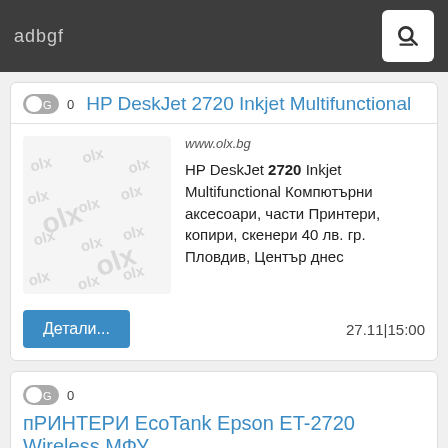adbgf
HP DeskJet 2720 Inkjet Multifunctional
www.olx.bg
HP DeskJet 2720 Inkjet Multifunctional Компютърни аксесоари, части Принтери, копири, скенери 40 лв. гр. Пловдив, Център днес
Детали...
27.11|15:00
пРИНТЕРИ EcoTank Epson ET-2720 Wireless МФУ